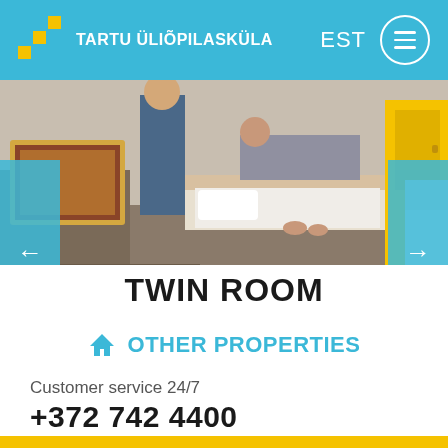TARTU ÜLIÕPILASKÜLA | EST
[Figure (photo): Interior photo of a twin room showing two people sitting on beds with yellow furniture, books on a table in the foreground]
TWIN ROOM
OTHER PROPERTIES
Customer service 24/7
+372 742 4400